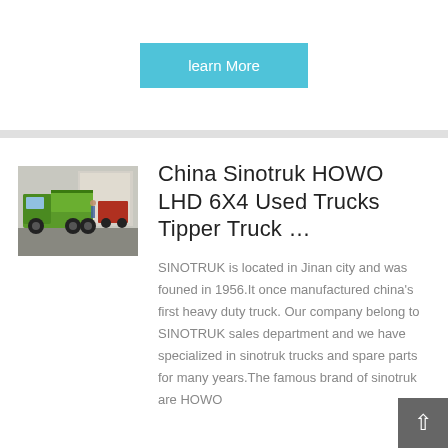learn More
[Figure (photo): Green Sinotruk HOWO tipper/dump truck parked in a yard with other trucks in the background]
China Sinotruk HOWO LHD 6X4 Used Trucks Tipper Truck …
SINOTRUK is located in Jinan city and was founed in 1956.It once manufactured china's first heavy duty truck. Our company belong to SINOTRUK sales department and we have specialized in sinotruk trucks and spare parts for many years.The famous brand of sinotruk are HOWO